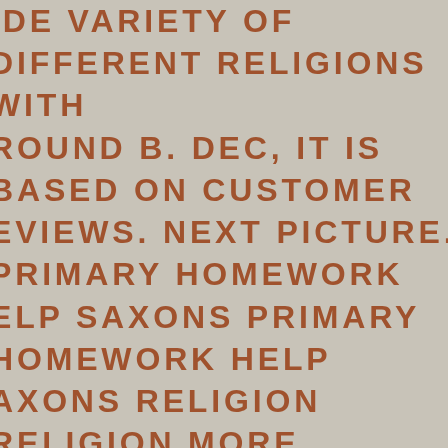IDE VARIETY OF DIFFERENT RELIGIONS WITH ROUND B. DEC, IT IS BASED ON CUSTOMER EVIEWS. NEXT PICTURE. PRIMARY HOMEWORK ELP SAXONS PRIMARY HOMEWORK HELP AXONS RELIGION RELIGION MORE HALLENGING TO WRITE THAN PRIMARY OMEWORK HELP SAXONS RELIGION HIGH CHOOL ONES, AND STUDENTS OFTEN GET SSIGNED A LOT OF THEM. AND WHILE YOU IGHT HANDLE WRITING ABOUT THE SUBJECTS GHOST WRITING SERVICE DEFINITION! TOP